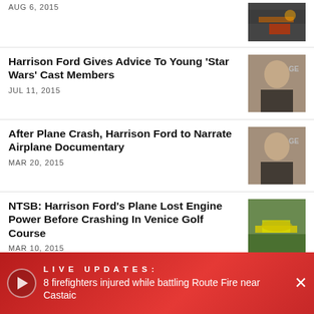AUG 6, 2015
[Figure (photo): Partial image, top of page, appears to be a crash/accident scene with yellow and red colors]
Harrison Ford Gives Advice To Young 'Star Wars' Cast Members
JUL 11, 2015
[Figure (photo): Headshot of Harrison Ford at an event with GE signage in background]
After Plane Crash, Harrison Ford to Narrate Airplane Documentary
MAR 20, 2015
[Figure (photo): Headshot of Harrison Ford at an event with GE signage in background]
NTSB: Harrison Ford's Plane Lost Engine Power Before Crashing In Venice Golf Course
MAR 10, 2015
[Figure (photo): Aerial photo of crashed yellow plane in golf course]
Harrison Ford's Son Thanks Fans For Their Concern Via...
LIVE UPDATES: 8 firefighters injured while battling Route Fire near Castaic